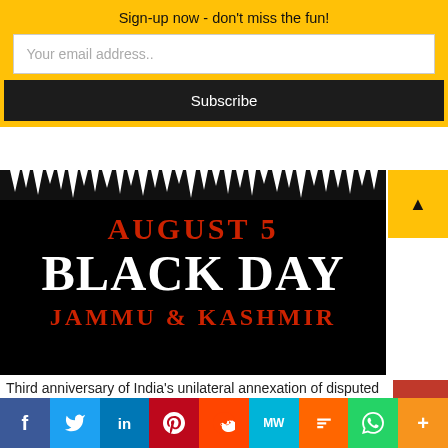Sign-up now - don't miss the fun!
Your email address..
Subscribe
[Figure (illustration): Black promotional image with icicle decoration at top. Text reads: AUGUST 5 BLACK DAY JAMMU & KASHMIR in red and white lettering.]
Third anniversary of India's unilateral annexation of disputed KashmirLatheef Farook
[Figure (photo): Partial photo strip showing people, partially visible at page bottom]
f  Twitter  in  Pinterest  Reddit  MW  Mix  WhatsApp  More